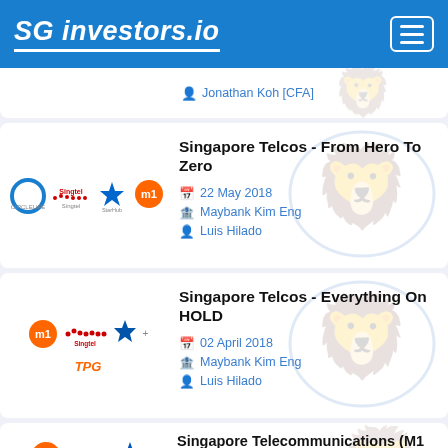SG investors.io
Jonathan Koh [CFA]
Singapore Telcos - From Hero To Zero
22 May 2018
Maybank Kim Eng
Luis Hilado
Singapore Telcos - Everything On HOLD
02 April 2018
Maybank Kim Eng
Luis Hilado
Singapore Telecommunications (M1 vs SingTel vs StarHub) - Finally At The Battle Lines